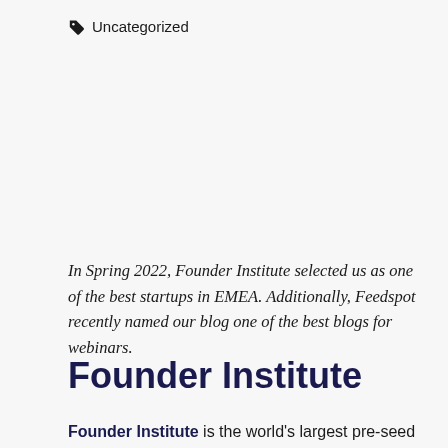Uncategorized
In Spring 2022, Founder Institute selected us as one of the best startups in EMEA. Additionally, Feedspot recently named our blog one of the best blogs for webinars.
Founder Institute
Founder Institute is the world's largest pre-seed accelerator. With timz.flowers, we graduated in